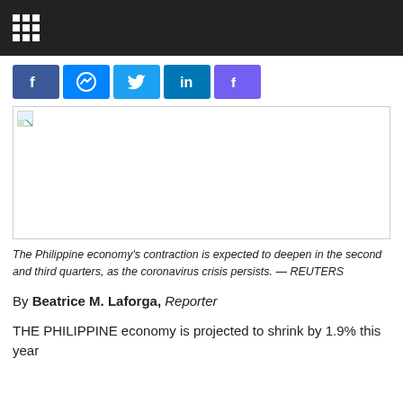Grid menu icon on dark header bar
[Figure (other): Social media share buttons: Facebook, Messenger, Twitter, LinkedIn, Viber]
[Figure (photo): Broken/unloaded image placeholder with border]
The Philippine economy's contraction is expected to deepen in the second and third quarters, as the coronavirus crisis persists. — REUTERS
By Beatrice M. Laforga, Reporter
THE PHILIPPINE economy is projected to shrink by 1.9% this year